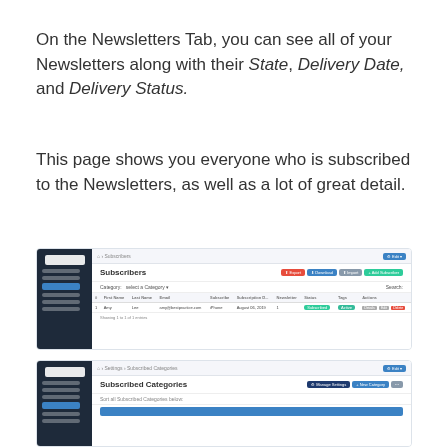On the Newsletters Tab, you can see all of your Newsletters along with their State, Delivery Date, and Delivery Status.
This page shows you everyone who is subscribed to the Newsletters, as well as a lot of great detail.
[Figure (screenshot): Screenshot of a web application showing a Subscribers page with a sidebar navigation menu on the left (dark), a top navigation bar, a Subscribers heading with action buttons (Export, Download, Import, Add Subscriber), a filter row, a data table with columns for name, email, status, subscription date, newsletter, status, tags, and actions, and a pagination footer.]
[Figure (screenshot): Screenshot of a web application showing a Subscribed Categories page with a sidebar navigation menu on the left (dark, with Categories highlighted), action buttons (Manage Settings, New Category, etc.), a filter/search area, and a blue highlighted row at the bottom.]